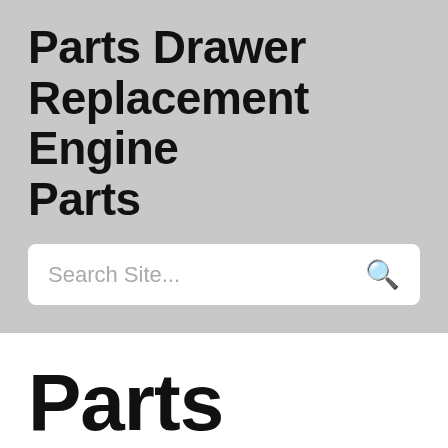Parts Drawer Replacement Engine Parts
Search Site...
Parts Drawer For Sale